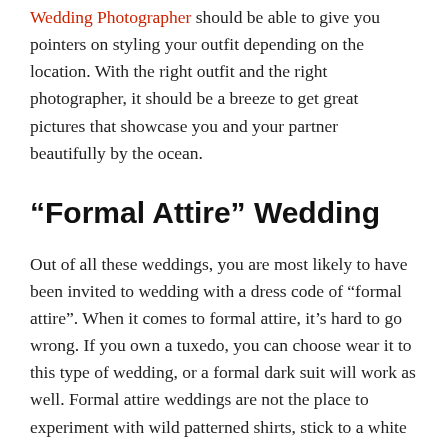Wedding Photographer should be able to give you pointers on styling your outfit depending on the location. With the right outfit and the right photographer, it should be a breeze to get great pictures that showcase you and your partner beautifully by the ocean.
“Formal Attire” Wedding
Out of all these weddings, you are most likely to have been invited to wedding with a dress code of “formal attire”. When it comes to formal attire, it’s hard to go wrong. If you own a tuxedo, you can choose wear it to this type of wedding, or a formal dark suit will work as well. Formal attire weddings are not the place to experiment with wild patterned shirts, stick to a white shirt with a tie that matches your suit. However, formal attire weddings could be a good place for experimenting